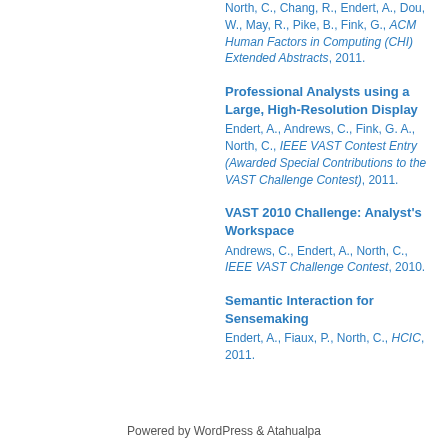North, C., Chang, R., Endert, A., Dou, W., May, R., Pike, B., Fink, G., ACM Human Factors in Computing (CHI) Extended Abstracts, 2011.
Professional Analysts using a Large, High-Resolution Display. Endert, A., Andrews, C., Fink, G. A., North, C., IEEE VAST Contest Entry (Awarded Special Contributions to the VAST Challenge Contest), 2011.
VAST 2010 Challenge: Analyst's Workspace. Andrews, C., Endert, A., North, C., IEEE VAST Challenge Contest, 2010.
Semantic Interaction for Sensemaking. Endert, A., Fiaux, P., North, C., HCIC, 2011.
Powered by WordPress & Atahualpa